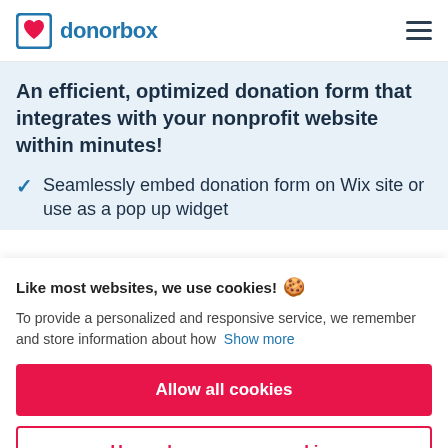[Figure (logo): Donorbox logo with blue bracket icon containing a red heart, followed by the text 'donorbox' in blue]
An efficient, optimized donation form that integrates with your nonprofit website within minutes!
Seamlessly embed donation form on Wix site or use as a pop up widget
Like most websites, we use cookies!
To provide a personalized and responsive service, we remember and store information about how  Show more
Allow all cookies
Use only necessary cookies
More options